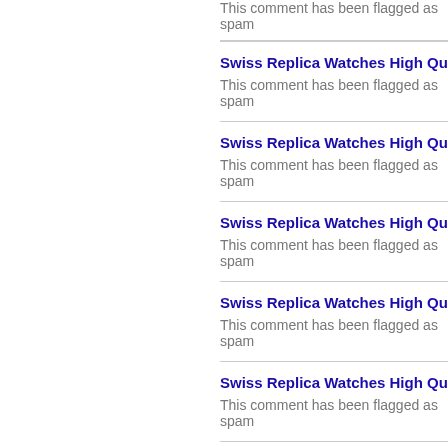This comment has been flagged as spam
Swiss Replica Watches High Qua --- 6 years
This comment has been flagged as spam
Swiss Replica Watches High Qua --- 6 years
This comment has been flagged as spam
Swiss Replica Watches High Qua --- 6 years
This comment has been flagged as spam
Swiss Replica Watches High Qua --- 6 years
This comment has been flagged as spam
Swiss Replica Watches High Qua --- 6 years
This comment has been flagged as spam
Swiss Replica Watches High Qua --- 6 years